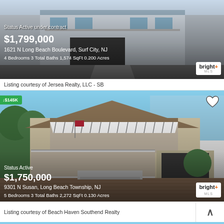[Figure (photo): Exterior photo of 1621 N Long Beach Boulevard, Surf City NJ, a multi-story coastal home with garage]
Status Active under contract
$1,799,000
1621 N Long Beach Boulevard, Surf City, NJ
4 Bedrooms  3 Total Baths  1,574 SqFt  0.200 Acres
Listing courtesy of Jersea Realty, LLC - SB
[Figure (photo): Exterior photo of 9301 N Susan, Long Beach Township NJ, large two-story home with awning and brick driveway]
Status Active
$1,750,000
9301 N Susan, Long Beach Township, NJ
5 Bedrooms  3 Total Baths  2,272 SqFt  0.130 Acres
Listing courtesy of Beach Haven Southend Realty